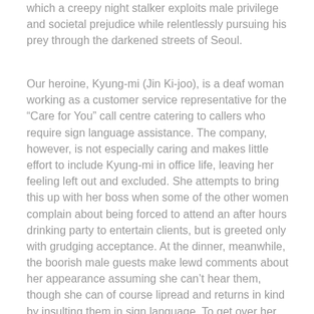which a creepy night stalker exploits male privilege and societal prejudice while relentlessly pursuing his prey through the darkened streets of Seoul.
Our heroine, Kyung-mi (Jin Ki-joo), is a deaf woman working as a customer service representative for the "Care for You" call centre catering to callers who require sign language assistance. The company, however, is not especially caring and makes little effort to include Kyung-mi in office life, leaving her feeling left out and excluded. She attempts to bring this up with her boss when some of the other women complain about being forced to attend an after hours drinking party to entertain clients, but is greeted only with grudging acceptance. At the dinner, meanwhile, the boorish male guests make lewd comments about her appearance assuming she can't hear them, though she can of course lipread and returns in kind by insulting them in sign language. To get over her sense of discomfort she dreams of travelling to Jeju island for a relaxing beach holiday with her mother (Gil Hae-yeon) who is also deaf.